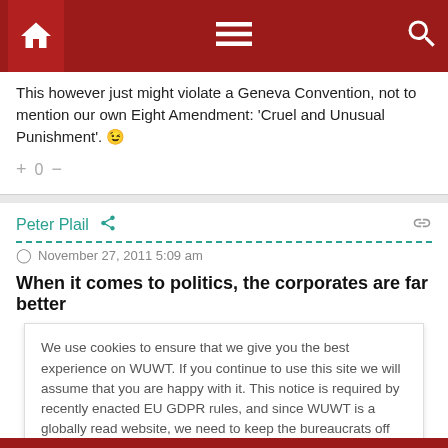Navigation bar with home, menu, and search icons
This however just might violate a Geneva Convention, not to mention our own Eight Amendment: 'Cruel and Unusual Punishment'. 😉
+ 0 −
Peter Plail
November 27, 2011 5:09 am
When it comes to politics, the corporates are far better
We use cookies to ensure that we give you the best experience on WUWT. If you continue to use this site we will assume that you are happy with it. This notice is required by recently enacted EU GDPR rules, and since WUWT is a globally read website, we need to keep the bureaucrats off our case! Cookie Policy
Close and accept